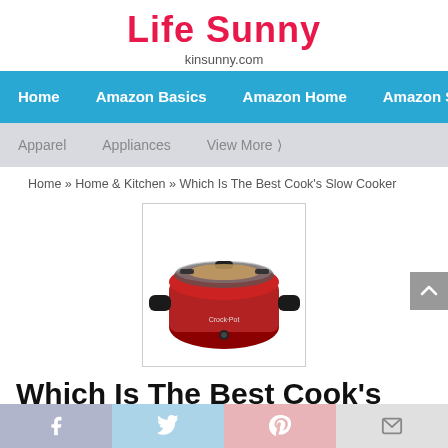Life Sunny
kinsunny.com
Home   Amazon Basics   Amazon Home   Amazon SMP
Apparel   Appliances   View More »
Home » Home & Kitchen » Which Is The Best Cook's Slow Cooker
[Figure (photo): Red Crock-Pot slow cooker with glass lid, shown with food inside, on a white background]
Which Is The Best Cook's Slow